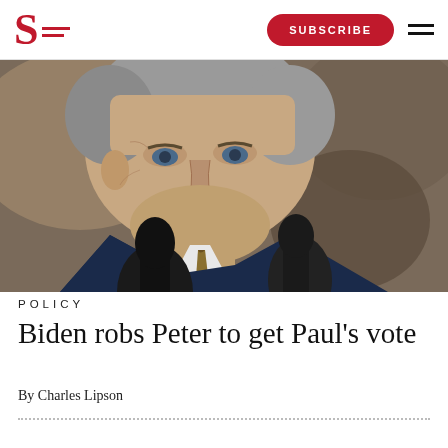S [logo] SUBSCRIBE [hamburger menu]
[Figure (photo): Close-up photograph of an older man (President Biden) speaking at a microphone podium, wearing a navy suit and patterned tie, with blurred background.]
POLICY
Biden robs Peter to get Paul's vote
By Charles Lipson